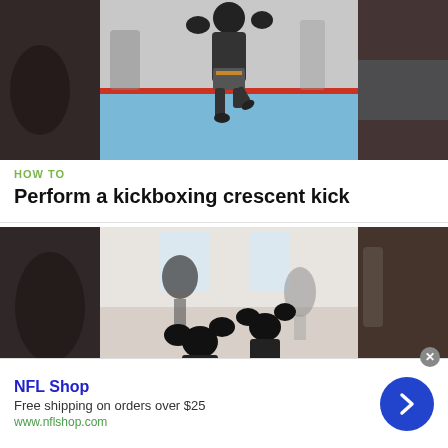[Figure (photo): Kickboxer performing a crescent kick in a martial arts gym with blue mats. Film strip style thumbnail with dark blurred panels on left and right sides.]
HOW TO
Perform a kickboxing crescent kick
[Figure (photo): Two kickboxers sparring in a gym, one throwing a kick. Film strip style thumbnail with dark blurred panels on left and right sides.]
NFL Shop
Free shipping on orders over $25
www.nflshop.com